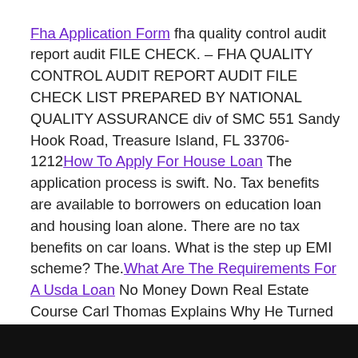Fha Application Form fha quality control audit report audit FILE CHECK. – FHA QUALITY CONTROL AUDIT REPORT AUDIT FILE CHECK LIST PREPARED BY NATIONAL QUALITY ASSURANCE div of SMC 551 Sandy Hook Road, Treasure Island, FL 33706-1212How To Apply For House Loan The application process is swift. No. Tax benefits are available to borrowers on education loan and housing loan alone. There are no tax benefits on car loans. What is the step up EMI scheme? The.What Are The Requirements For A Usda Loan No Money Down Real Estate Course Carl Thomas Explains Why He Turned Down TV One's "Unsung" – What they are doing is no different than what, "The Doors" were doing. Maybe it was a little bit drug-induced of course (laughing. Or selling real estate; doing something else.
[Figure (photo): Dark image bar at the bottom of the page]